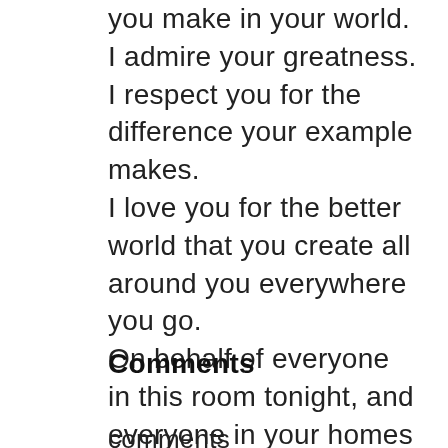you make in your world. I admire your greatness. I respect you for the difference your example makes. I love you for the better world that you create all around you everywhere you go. On behalf of everyone in this room tonight, and everyone in your homes and schools and everyone you will influence in the future, THANK YOU for being the great kids that you are, and may you love yourself forever.
Comments
comments